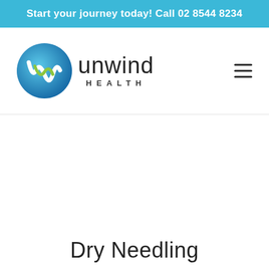Start your journey today! Call 02 8544 8234
[Figure (logo): Unwind Health logo with circular emblem containing stylized 'w' in blue and green, followed by text 'unwind HEALTH']
Dry Needling